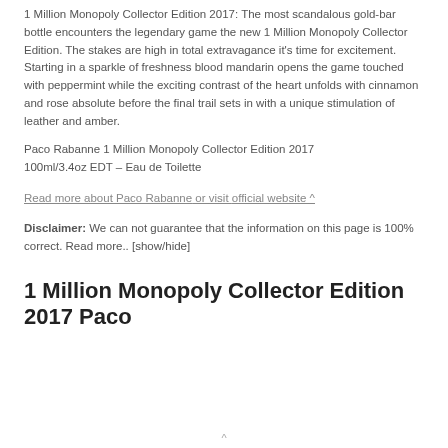1 Million Monopoly Collector Edition 2017: The most scandalous gold-bar bottle encounters the legendary game the new 1 Million Monopoly Collector Edition. The stakes are high in total extravagance it's time for excitement. Starting in a sparkle of freshness blood mandarin opens the game touched with peppermint while the exciting contrast of the heart unfolds with cinnamon and rose absolute before the final trail sets in with a unique stimulation of leather and amber.
Paco Rabanne 1 Million Monopoly Collector Edition 2017 100ml/3.4oz EDT – Eau de Toilette
Read more about Paco Rabanne or visit official website ^
Disclaimer: We can not guarantee that the information on this page is 100% correct. Read more.. [show/hide]
1 Million Monopoly Collector Edition 2017 Paco